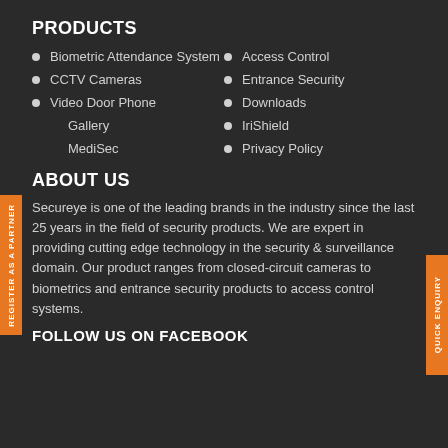PRODUCTS
Biometric Attendance System
Access Control
CCTV Cameras
Entrance Security
Video Door Phone
Downloads
Gallery
IriShield
MediSec
Privacy Policy
ABOUT US
Secureye is one of the leading brands in the industry since the last 25 years in the field of security products. We are expert in providing cutting edge technology in the security & surveillance domain. Our product ranges from closed-circuit cameras to biometrics and entrance security products to access control systems.
FOLLOW US ON FACEBOOK